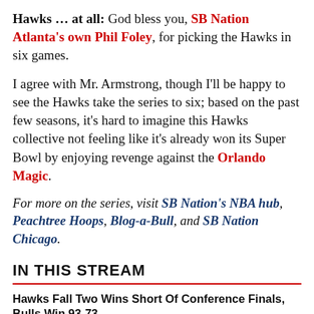Hawks ... at all: God bless you, SB Nation Atlanta's own Phil Foley, for picking the Hawks in six games.
I agree with Mr. Armstrong, though I'll be happy to see the Hawks take the series to six; based on the past few seasons, it's hard to imagine this Hawks collective not feeling like it's already won its Super Bowl by enjoying revenge against the Orlando Magic.
For more on the series, visit SB Nation's NBA hub, Peachtree Hoops, Blog-a-Bull, and SB Nation Chicago.
IN THIS STREAM
Hawks Fall Two Wins Short Of Conference Finals, Bulls Win 93-73
PHOTO: Atlanta Hawks Goin' Fishing At Stone Mountain Thanks To TNT